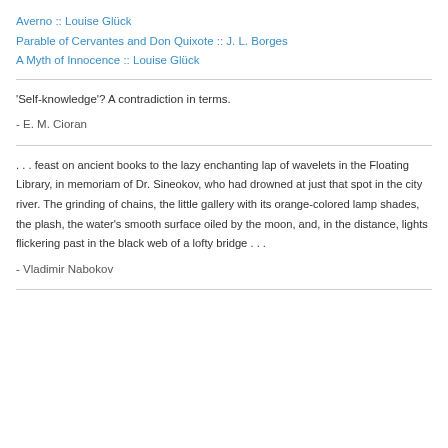Averno :: Louise Glück
Parable of Cervantes and Don Quixote :: J. L. Borges
A Myth of Innocence :: Louise Glück
'Self-knowledge'? A contradiction in terms.
- E. M. Cioran
. . . feast on ancient books to the lazy enchanting lap of wavelets in the Floating Library, in memoriam of Dr. Sineokov, who had drowned at just that spot in the city river. The grinding of chains, the little gallery with its orange-colored lamp shades, the plash, the water's smooth surface oiled by the moon, and, in the distance, lights flickering past in the black web of a lofty bridge . . .
- Vladimir Nabokov